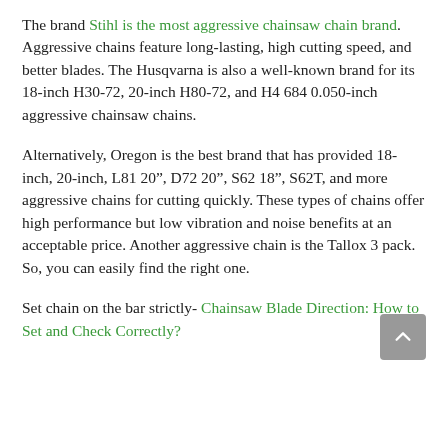The brand Stihl is the most aggressive chainsaw chain brand. Aggressive chains feature long-lasting, high cutting speed, and better blades. The Husqvarna is also a well-known brand for its 18-inch H30-72, 20-inch H80-72, and H4 684 0.050-inch aggressive chainsaw chains.
Alternatively, Oregon is the best brand that has provided 18-inch, 20-inch, L81 20″, D72 20″, S62 18″, S62T, and more aggressive chains for cutting quickly. These types of chains offer high performance but low vibration and noise benefits at an acceptable price. Another aggressive chain is the Tallox 3 pack. So, you can easily find the right one.
Set chain on the bar strictly- Chainsaw Blade Direction: How to Set and Check Correctly?